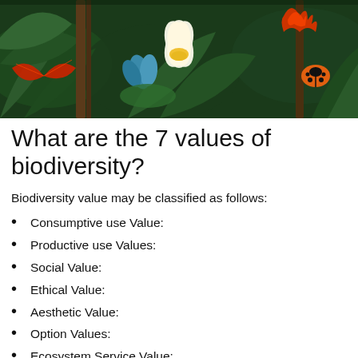[Figure (illustration): Colorful illustrated tropical/jungle scene with lotus flowers, green leaves, red butterfly wings, orange ladybug, and dark green foliage background.]
What are the 7 values of biodiversity?
Biodiversity value may be classified as follows:
Consumptive use Value:
Productive use Values:
Social Value:
Ethical Value:
Aesthetic Value:
Option Values:
Ecosystem Service Value: